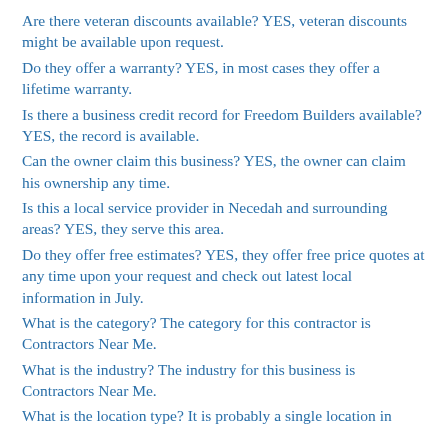Are there veteran discounts available? YES, veteran discounts might be available upon request.
Do they offer a warranty? YES, in most cases they offer a lifetime warranty.
Is there a business credit record for Freedom Builders available? YES, the record is available.
Can the owner claim this business? YES, the owner can claim his ownership any time.
Is this a local service provider in Necedah and surrounding areas? YES, they serve this area.
Do they offer free estimates? YES, they offer free price quotes at any time upon your request and check out latest local information in July.
What is the category? The category for this contractor is Contractors Near Me.
What is the industry? The industry for this business is Contractors Near Me.
What is the location type? It is probably a single location in